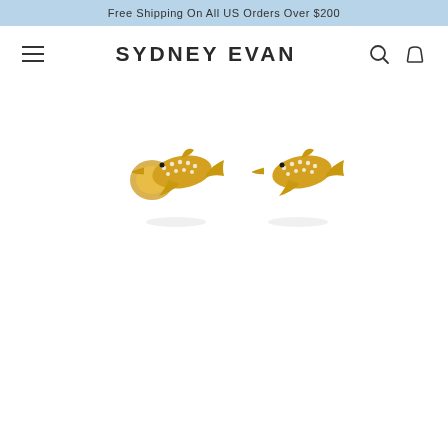Free Shipping On All US Orders Over $200
SYDNEY EVAN
[Figure (photo): Two gold dolphin stud earrings with diamond pave detailing, photographed on white background. One earring shown from the side with earring back visible, the other shown from the front.]